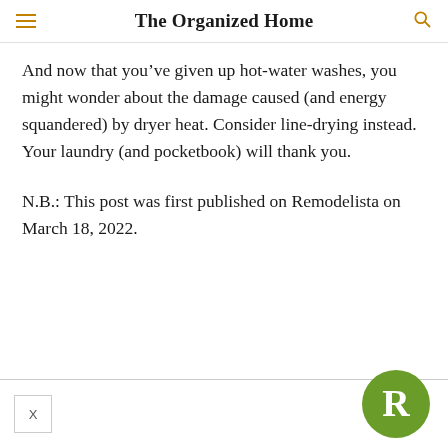The Organized Home
And now that you’ve given up hot-water washes, you might wonder about the damage caused (and energy squandered) by dryer heat. Consider line-drying instead. Your laundry (and pocketbook) will thank you.
N.B.: This post was first published on Remodelista on March 18, 2022.